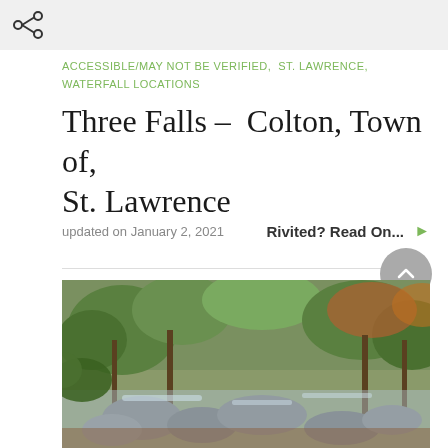[Figure (other): Share icon (network share symbol) in top-left area on a grey background bar]
ACCESSIBLE/MAY NOT BE VERIFIED,  ST. LAWRENCE,  WATERFALL LOCATIONS
Three Falls – Colton, Town of, St. Lawrence
updated on January 2, 2021
Rivited? Read On...
[Figure (photo): Outdoor nature photograph showing a rocky stream or waterfall with green foliage, trees, and autumn-colored leaves in a forest setting]